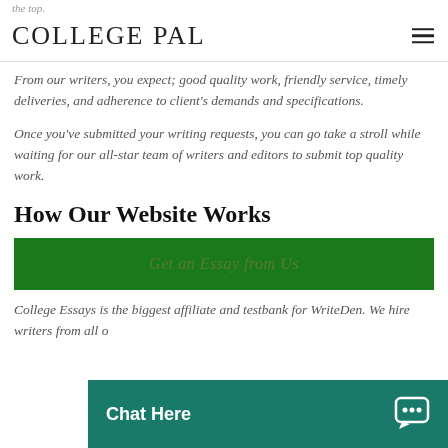the top. COLLEGE PAL
From our writers, you expect; good quality work, friendly service, timely deliveries, and adherence to client's demands and specifications.
Once you've submitted your writing requests, you can go take a stroll while waiting for our all-star team of writers and editors to submit top quality work.
How Our Website Works
Get an Essay from Us
College Essays is the biggest affiliate and testbank for WriteDen. We hire writers from all d… best essays to our clients…
Chat Here